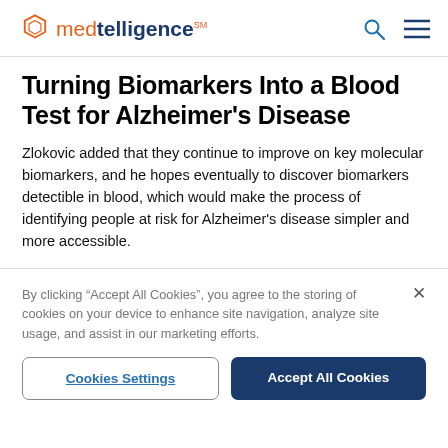medtelligence
Turning Biomarkers Into a Blood Test for Alzheimer's Disease
Zlokovic added that they continue to improve on key molecular biomarkers, and he hopes eventually to discover biomarkers detectible in blood, which would make the process of identifying people at risk for Alzheimer’s disease simpler and more accessible.
By clicking “Accept All Cookies”, you agree to the storing of cookies on your device to enhance site navigation, analyze site usage, and assist in our marketing efforts.